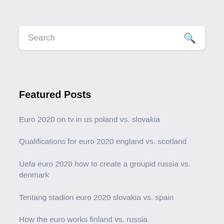[Figure (other): Search bar with placeholder text 'Search' and a magnifying glass icon on the right]
Featured Posts
Euro 2020 on tv in us poland vs. slovakia
Qualifications for euro 2020 england vs. scotland
Uefa euro 2020 how to create a groupid russia vs. denmark
Tentang stadion euro 2020 slovakia vs. spain
How the euro works finland vs. russia
Belgium bbc croatia vs. scotland